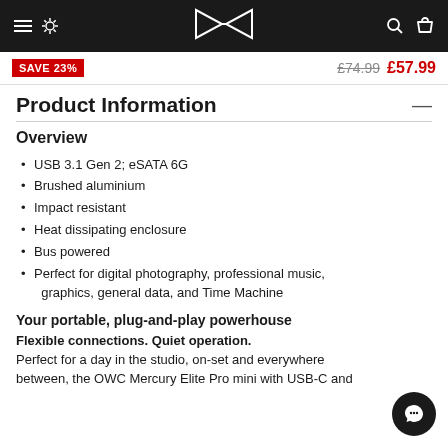OWC website header with hamburger menu, logo, search and cart icons
SAVE 23%  £74.99  £57.99
Product Information
Overview
USB 3.1 Gen 2; eSATA 6G
Brushed aluminium
Impact resistant
Heat dissipating enclosure
Bus powered
Perfect for digital photography, professional music, graphics, general data, and Time Machine
Your portable, plug-and-play powerhouse
Flexible connections. Quiet operation.
Perfect for a day in the studio, on-set and everywhere between, the OWC Mercury Elite Pro mini with USB-C and